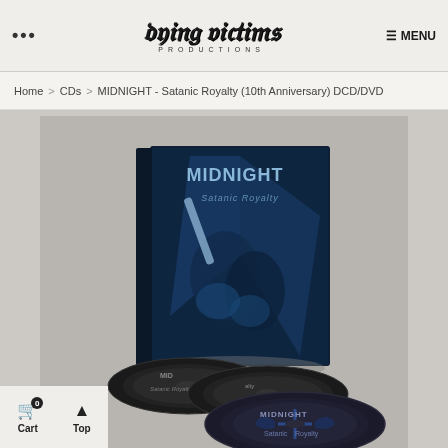··· Dying Victims Productions  ☰ MENU
Home > CDs > MIDNIGHT - Satanic Royalty (10th Anniversary) DCD/DVD
[Figure (photo): Product photo of MIDNIGHT - Satanic Royalty 10th Anniversary DCD/DVD edition. Shows a hardcover digipak with dark blue cover art depicting figures with a knife, titled 'MIDNIGHT Satanic Royalty', alongside three black CDs with 'Midnight Satanic Royalty' printed on them.]
Cart 0   Top